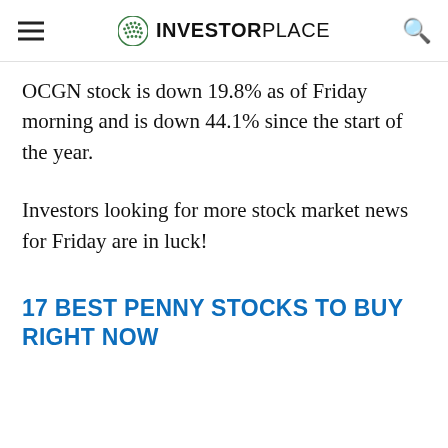INVESTORPLACE
OCGN stock is down 19.8% as of Friday morning and is down 44.1% since the start of the year.
Investors looking for more stock market news for Friday are in luck!
17 BEST PENNY STOCKS TO BUY RIGHT NOW